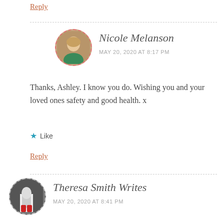Reply
Nicole Melanson
MAY 20, 2020 AT 8:17 PM
Thanks, Ashley. I know you do. Wishing you and your loved ones safety and good health. x
★ Like
Reply
Theresa Smith Writes
MAY 20, 2020 AT 8:41 PM